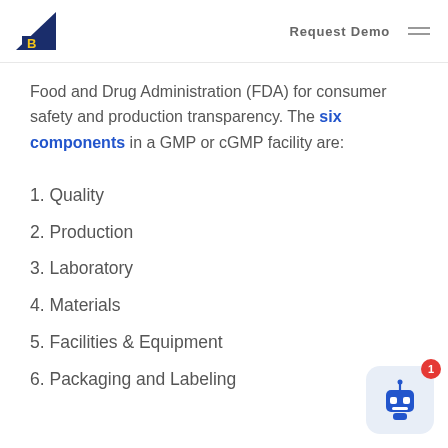Request Demo
Food and Drug Administration (FDA) for consumer safety and production transparency. The six components in a GMP or cGMP facility are:
1. Quality
2. Production
3. Laboratory
4. Materials
5. Facilities & Equipment
6. Packaging and Labeling